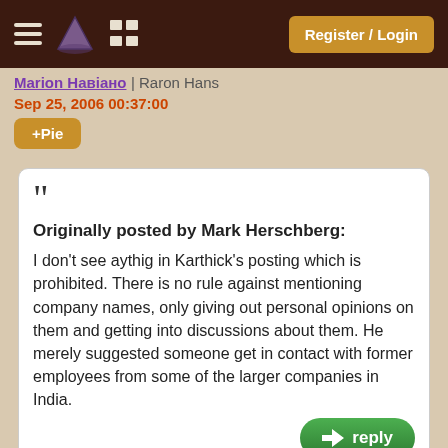Register / Login
Marion Навіано | Raron Hans
Sep 25, 2006 00:37:00
+Pie
Originally posted by Mark Herschberg:

I don't see aythig in Karthick's posting which is prohibited. There is no rule against mentioning company names, only giving out personal opinions on them and getting into discussions about them. He merely suggested someone get in contact with former employees from some of the larger companies in India.

--Mark